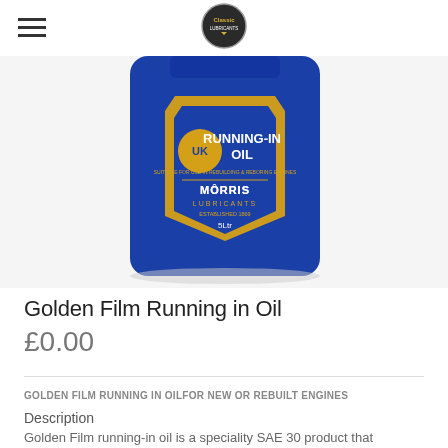Classic [logo]
[Figure (photo): Blue 5L Jerry can bottle of Morris Lubricants Golden Film Running-In Oil with blue and gold shield label showing 'RUNNING-IN OIL' and 'MORRIS LUBRICANTS ESTABLISHED 1869 5Ltr']
Golden Film Running in Oil
£0.00
GOLDEN FILM RUNNING IN OIL FOR NEW OR REBUILT ENGINES
Description
Golden Film running-in oil is a speciality SAE 30 product that